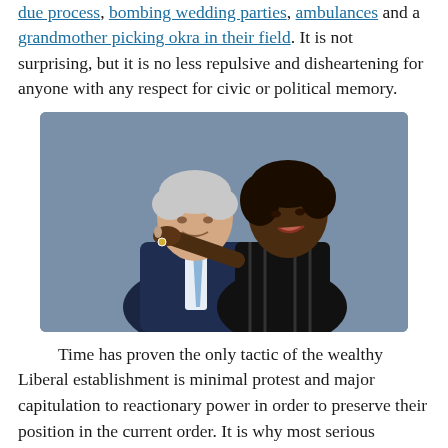due process, bombing wedding parties, ambulances and a grandmother picking okra in their field. It is not surprising, but it is no less repulsive and disheartening for anyone with any respect for civic or political memory.
[Figure (photo): Photo of two people embracing — an older white man in a dark suit with a light blue tie and a Black woman in a black sleeveless top, smiling.]
Time has proven the only tactic of the wealthy Liberal establishment is minimal protest and major capitulation to reactionary power in order to preserve their position in the current order. It is why most serious socialists, anarchists, radicals and leftists refuse to be allies with them. They have all too often felt the sting of betrayal. Nancy Pelosi infamously said "we're capitalists" when she smugly admonished a young progressive disillusioned with capitalism at a "town hall meeting." And she was not kidding. The Democratic Party establishment has benefited from and supported Wall Street over and